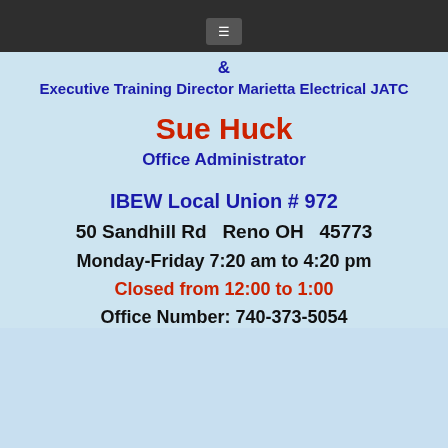&
Executive Training Director Marietta Electrical JATC
Sue Huck
Office Administrator
IBEW Local Union # 972
50 Sandhill Rd  Reno OH  45773
Monday-Friday 7:20 am to 4:20 pm
Closed from 12:00 to 1:00
Office Number: 740-373-5054